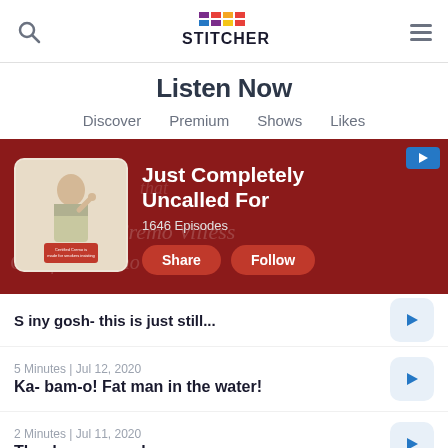Stitcher - Listen Now
Listen Now
Discover | Premium | Shows | Likes
[Figure (screenshot): Podcast banner for 'Just Completely Uncalled For' with 1646 Episodes, Share and Follow buttons, on a dark red background with vintage advertisement thumbnail]
5 Minutes | Jul 12, 2020
Ka- bam-o! Fat man in the water!
2 Minutes | Jul 11, 2020
The demons are here.
5 Minutes | Jul 10, 2020
He hit him in the head with a bucket of chili.